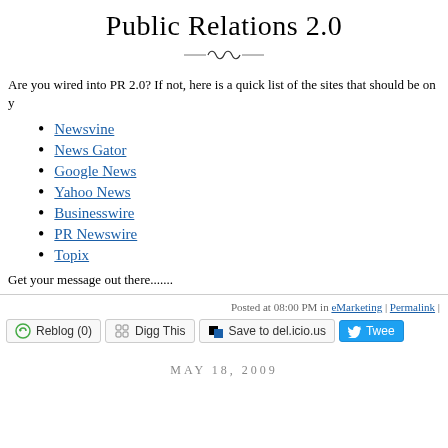Public Relations 2.0
Are you wired into PR 2.0?  If not, here is a quick list of the sites that should be on your radar...
Newsvine
News Gator
Google News
Yahoo News
Businesswire
PR Newswire
Topix
Get your message out there.......
Posted at 08:00 PM in eMarketing | Permalink |
MAY 18, 2009